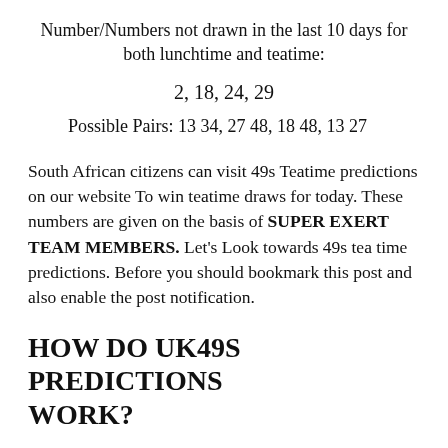Number/Numbers not drawn in the last 10 days for both lunchtime and teatime:
2, 18, 24, 29
Possible Pairs: 13 34, 27 48, 18 48, 13 27
South African citizens can visit 49s Teatime predictions on our website To win teatime draws for today. These numbers are given on the basis of SUPER EXERT TEAM MEMBERS. Let's Look towards 49s tea time predictions. Before you should bookmark this post and also enable the post notification.
HOW DO UK49S PREDICTIONS WORK?